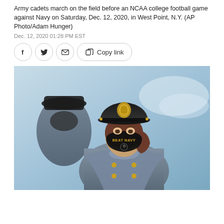Army cadets march on the field before an NCAA college football game against Navy on Saturday, Dec. 12, 2020, in West Point, N.Y. (AP Photo/Adam Hunger)
Dec. 12, 2020 01:28 PM EST
[Figure (photo): An Army cadet in full dress uniform with a dark cap bearing a gold military crest, wearing a black face mask with 'BEAT NAVY' text and an Army athletic logo, marching in formation. Another cadet is visible in the background.]